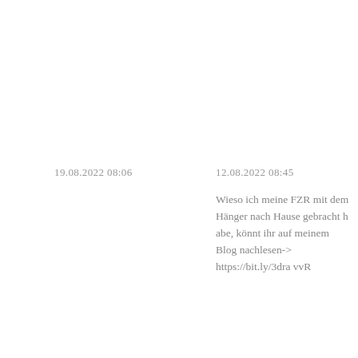19.08.2022 08:06
12.08.2022 08:45
Wieso ich meine FZR mit dem Hänger nach Hause gebracht habe, könnt ihr auf meinem Blog nachlesen-> https://bit.ly/3dravvR